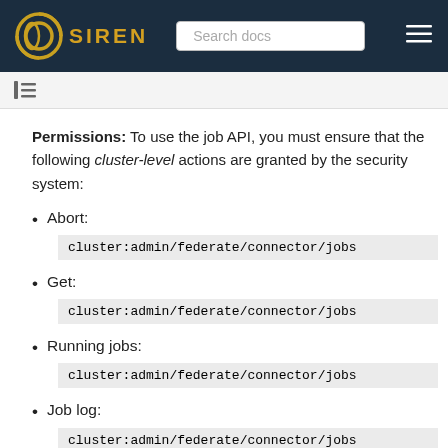SIREN — Search docs
Permissions: To use the job API, you must ensure that the following cluster-level actions are granted by the security system:
Abort:
cluster:admin/federate/connector/jobs
Get:
cluster:admin/federate/connector/jobs
Running jobs:
cluster:admin/federate/connector/jobs
Job log:
cluster:admin/federate/connector/jobs